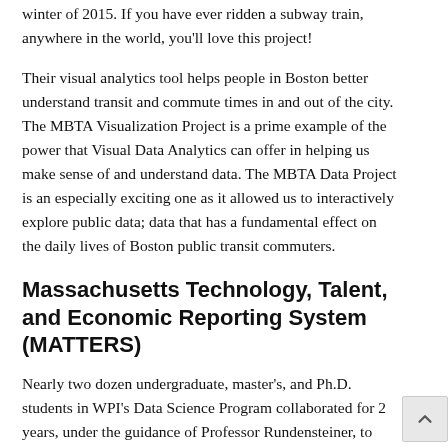winter of 2015. If you have ever ridden a subway train, anywhere in the world, you'll love this project!
Their visual analytics tool helps people in Boston better understand transit and commute times in and out of the city.  The MBTA Visualization Project is a prime example of the power that Visual Data Analytics can offer in helping us make sense of and understand data. The MBTA Data Project is an especially exciting one as it allowed us to interactively explore public data; data that has a fundamental effect on the daily lives of Boston public transit commuters.
Massachusetts Technology, Talent, and Economic Reporting System (MATTERS)
Nearly two dozen undergraduate, master's, and Ph.D. students in WPI's Data Science Program collaborated for 2 years, under the guidance of Professor Rundensteiner, to develop a novel data analytics system that could help shape economic policy in Massachusetts.
The Massachusetts Technology, Talent, and Economic Reporting System (MATTERS) is an online analytics dashboard empowered by